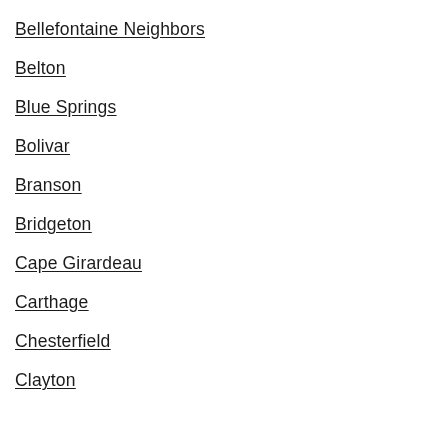Bellefontaine Neighbors
Belton
Blue Springs
Bolivar
Branson
Bridgeton
Cape Girardeau
Carthage
Chesterfield
Clayton